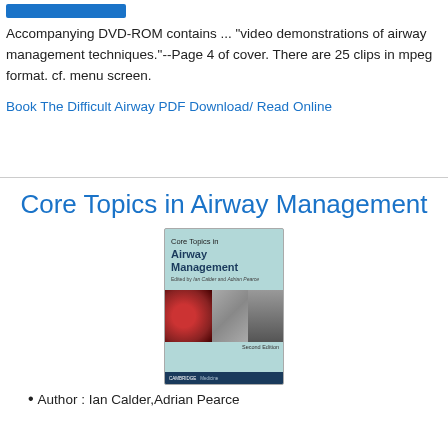Accompanying DVD-ROM contains ... "video demonstrations of airway management techniques."--Page 4 of cover. There are 25 clips in mpeg format. cf. menu screen.
Book The Difficult Airway PDF Download/ Read Online
Core Topics in Airway Management
[Figure (photo): Book cover of 'Core Topics in Airway Management', Second Edition, edited by Ian Calder and Adrian Pearce, published by Cambridge Medicine. The cover is light teal/aqua colored with the title in large text, editors listed below, three medical images at the bottom (laryngoscopy view, intubation procedure, anatomical image), and a curled page effect at bottom right.]
Author : Ian Calder,Adrian Pearce